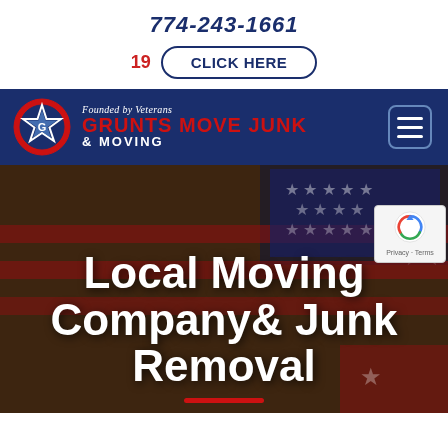774-243-1661
19  CLICK HERE
[Figure (logo): Grunts Move Junk & Moving logo with star emblem and navigation bar on dark blue background. 'Founded by Veterans' tagline above brand name. Hamburger menu icon on right.]
[Figure (photo): Hero section with American flag background and large white bold text reading 'Local Moving Company& Junk Removal' with a red underline. reCAPTCHA badge visible in top right of hero section.]
Local Moving Company& Junk Removal